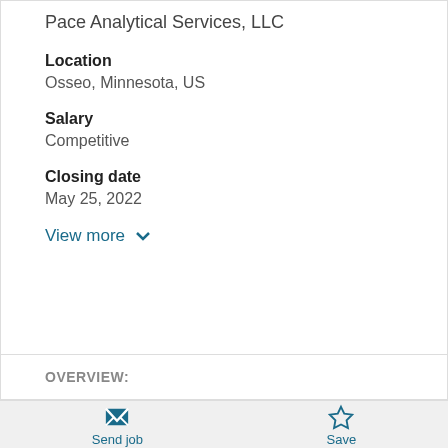Pace Analytical Services, LLC
Location
Osseo, Minnesota, US
Salary
Competitive
Closing date
May 25, 2022
View more
OVERVIEW:
Send job
Save